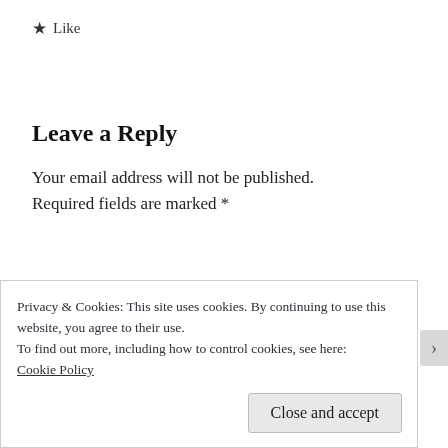★ Like
Leave a Reply
Your email address will not be published. Required fields are marked *
Comment *
Privacy & Cookies: This site uses cookies. By continuing to use this website, you agree to their use.
To find out more, including how to control cookies, see here:
Cookie Policy
Close and accept